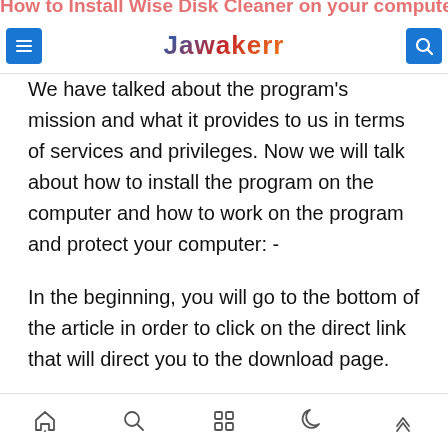How to Install Wise Disk Cleaner on your computer and laptop
Jawakerr
We have talked about the program's mission and what it provides to us in terms of services and privileges. Now we will talk about how to install the program on the computer and how to work on the program and protect your computer: -
In the beginning, you will go to the bottom of the article in order to click on the direct link that will direct you to the download page.
Home | Search | Apps | Night mode | Top